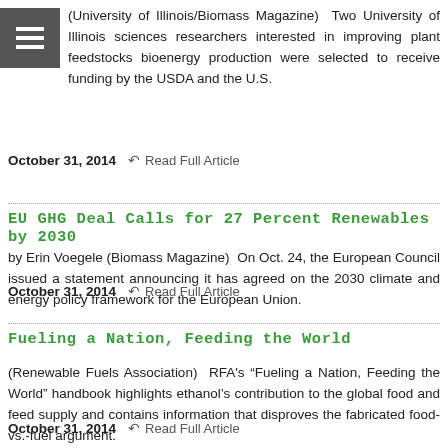(University of Illinois/Biomass Magazine) Two University of Illinois sciences researchers interested in improving plant feedstocks bioenergy production were selected to receive funding by the USDA and the U.S.
October 31, 2014  Read Full Article
EU GHG Deal Calls for 27 Percent Renewables by 2030
by Erin Voegele (Biomass Magazine) On Oct. 24, the European Council issued a statement announcing it has agreed on the 2030 climate and energy policy framework for the European Union.
October 31, 2014  Read Full Article
Fueling a Nation, Feeding the World
(Renewable Fuels Association) RFA's "Fueling a Nation, Feeding the World" handbook highlights ethanol's contribution to the global food and feed supply and contains information that disproves the fabricated food-vs.-fuel argument.
October 31, 2014  Read Full Article